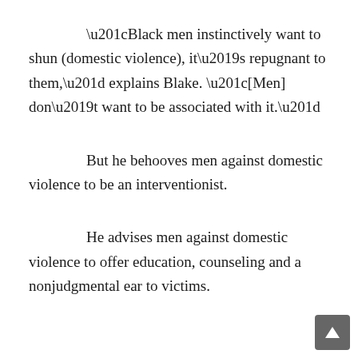“Black men instinctively want to shun (domestic violence), it’s repugnant to them,” explains Blake. “[Men] don’t want to be associated with it.”
But he behooves men against domestic violence to be an interventionist.
He advises men against domestic violence to offer education, counseling and a nonjudgmental ear to victims.